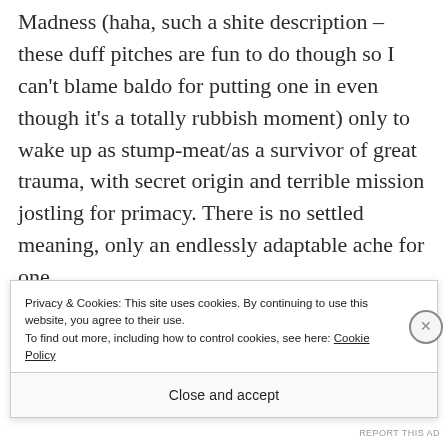Madness (haha, such a shite description – these duff pitches are fun to do though so I can't blame baldo for putting one in even though it's a totally rubbish moment) only to wake up as stump-meat/as a survivor of great trauma, with secret origin and terrible mission jostling for primacy. There is no settled meaning, only an endlessly adaptable ache for one.
Privacy & Cookies: This site uses cookies. By continuing to use this website, you agree to their use. To find out more, including how to control cookies, see here: Cookie Policy
Close and accept